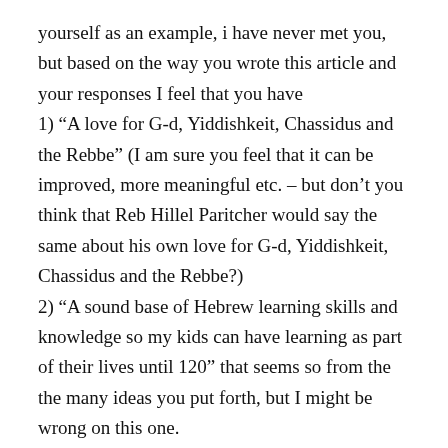yourself as an example, i have never met you, but based on the way you wrote this article and your responses I feel that you have
1) “A love for G-d, Yiddishkeit, Chassidus and the Rebbe” (I am sure you feel that it can be improved, more meaningful etc. – but don’t you think that Reb Hillel Paritcher would say the same about his own love for G-d, Yiddishkeit, Chassidus and the Rebbe?)
2) “A sound base of Hebrew learning skills and knowledge so my kids can have learning as part of their lives until 120” that seems so from the the many ideas you put forth, but I might be wrong on this one.
3) “Emotional confidence and comfort in problem